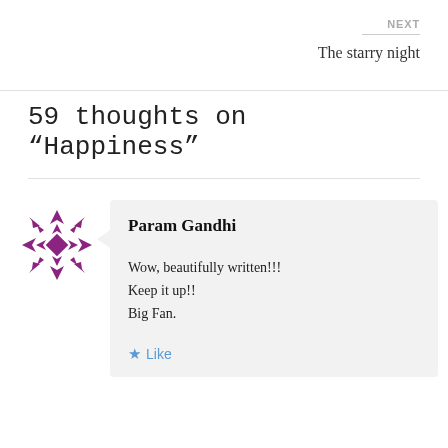NEXT
The starry night
59 thoughts on “Happiness”
[Figure (illustration): Purple snowflake/geometric avatar icon for user Param Gandhi]
Param Gandhi
Wow, beautifully written!!!
Keep it up!!
Big Fan.
Like